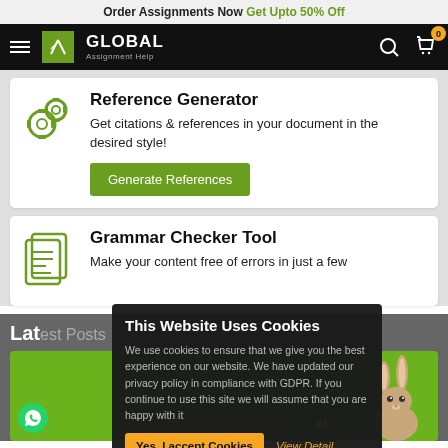Order Assignments Now Get Upto 50% Off
[Figure (logo): Global Assignment Help logo with hamburger menu and cart icon in navbar]
Reference Generator
Get citations & references in your document in the desired style!
Generate References
Grammar Checker Tool
Make your content free of errors in just a few
Latest Posts
[Figure (screenshot): Green post card with WhatsApp button and rabbit illustration]
This Website Uses Cookies
We use cookies to ensure that we give you the best experience on our website. We have updated our privacy policy in compliance with GDPR. If you continue to use this site we will assume that you are happy with it
Yes, I accept Cookies
View Detail